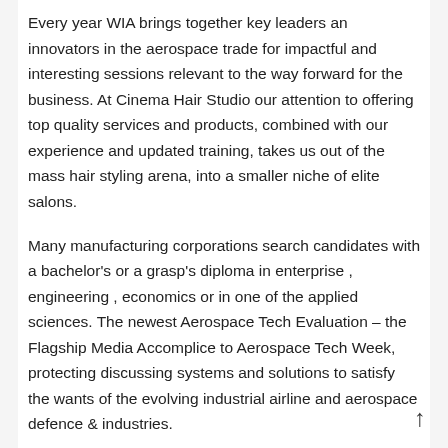Every year WIA brings together key leaders an innovators in the aerospace trade for impactful and interesting sessions relevant to the way forward for the business. At Cinema Hair Studio our attention to offering top quality services and products, combined with our experience and updated training, takes us out of the mass hair styling arena, into a smaller niche of elite salons.
Many manufacturing corporations search candidates with a bachelor's or a grasp's diploma in enterprise , engineering , economics or in one of the applied sciences. The newest Aerospace Tech Evaluation – the Flagship Media Accomplice to Aerospace Tech Week, protecting discussing systems and solutions to satisfy the wants of the evolving industrial airline and aerospace defence & industries.